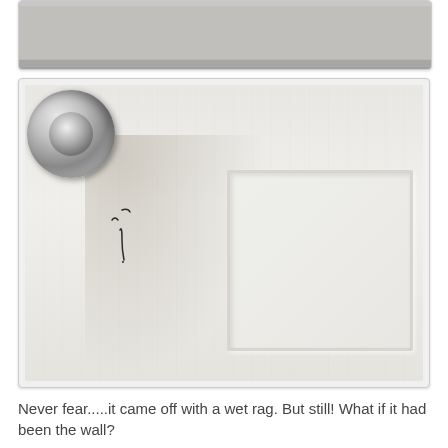[Figure (photo): Top portion of a previous photo, showing what appears to be a white door or wall surface, partially cropped at the top of the page.]
[Figure (photo): Close-up photo of a white interior door with a brushed nickel/silver door knob in the upper left corner. The white door has wood grain texture. There are small dark scuff marks or scratches visible on the door surface near the knob. A raised panel is visible in the lower right portion of the door.]
Never fear.....it came off with a wet rag. But still! What if it had been the wall?